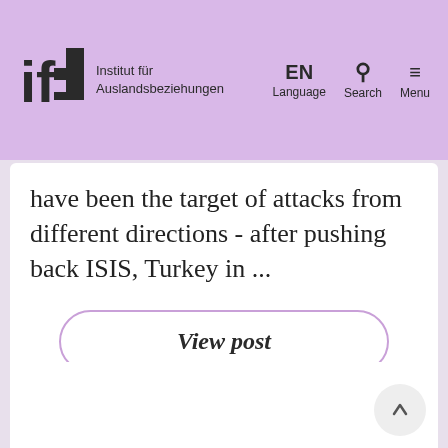ifa Institut für Auslandsbeziehungen | EN Language | Search | Menu
have been the target of attacks from different directions - after pushing back ISIS, Turkey in ...
View post
[Figure (screenshot): Bottom white content card area with scroll-to-top button]